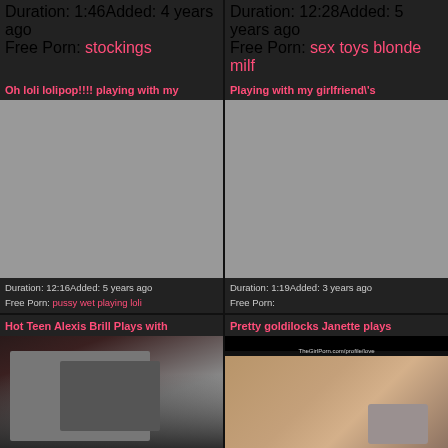Duration: 1:46Added: 4 years ago
Free Porn: stockings
Duration: 12:28Added: 5 years ago
Free Porn: sex toys blonde milf
Oh loli lolipop!!!! playing with my
[Figure (photo): Gray placeholder thumbnail]
Duration: 12:16Added: 5 years ago
Free Porn: pussy wet playing loli
Playing with my girlfriend\'s
[Figure (photo): Gray placeholder thumbnail]
Duration: 1:19Added: 3 years ago
Free Porn:
Hot Teen Alexis Brill Plays with
[Figure (photo): Photo of young woman on white background]
Pretty goldilocks Janette plays
[Figure (photo): Photo of person on couch with watermark]